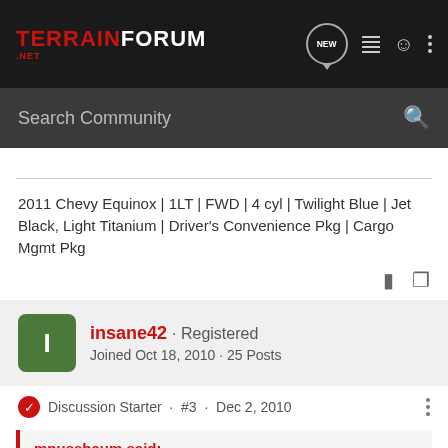TerrainForum.net
2011 Chevy Equinox | 1LT | FWD | 4 cyl | Twilight Blue | Jet Black, Light Titanium | Driver's Convenience Pkg | Cargo Mgmt Pkg
insane42 · Registered
Joined Oct 18, 2010 · 25 Posts
Discussion Starter · #3 · Dec 2, 2010
mnussbaum said:
Manually lock the doors? How 20th century! ;D